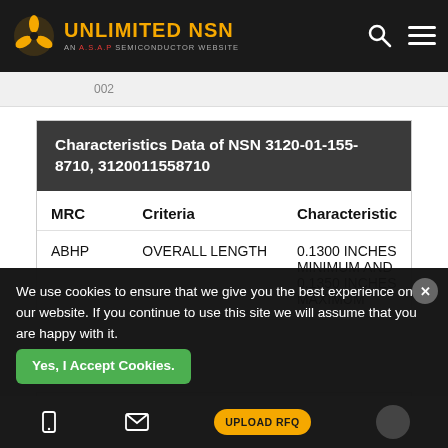UNLIMITED NSN — AN A.S.A.P SEMICONDUCTOR WEBSITE
Characteristics Data of NSN 3120-01-155-8710, 3120011558710
| MRC | Criteria | Characteristic |
| --- | --- | --- |
| ABHP | OVERALL LENGTH | 0.1300 INCHES MINIMUM AND 0.1350 INCHES MAXIMUM |
| ADAR |  | 0.4360 INCHES ... MAXIMUM |
We use cookies to ensure that we give you the best experience on our website. If you continue to use this site we will assume that you are happy with it.
Yes, I Accept Cookies. | UPLOAD RFQ